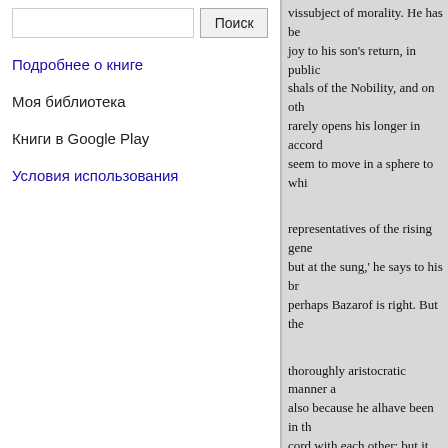Search input and Поиск button
Подробнее о книге
Моя библиотека
Книги в Google Play
Условия использования
vissubject of morality. He has be joy to his son's return, in public shals of the Nobility, and on oth rarely opens his longer in accord seem to move in a sphere to whi
representatives of the rising gene but at the sung,' he says to his br perhaps Bazarof is right. But the
thoroughly aristocratic manner a also because he alhave been in th cord with each other; but it turns he has gone ahead, and takes a j with a portable bath and a silver perfumes himself with choice in ried to give essences, and has o Wellington at Louis Philippe's ta perfectly honest and out the pro melanread, I study, I do my best the wants of the day, and then I f and indeed, scoffs at it. That har of continually regretting a lost "